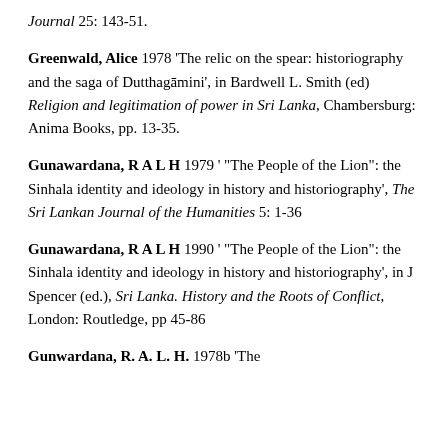Journal 25: 143-51.
Greenwald, Alice 1978 ‘The relic on the spear: historiography and the saga of Dutthagāmini’, in Bardwell L. Smith (ed) Religion and legitimation of power in Sri Lanka, Chambersburg: Anima Books, pp. 13-35.
Gunawardana, R A L H 1979 ‘ “The People of the Lion”: the Sinhala identity and ideology in history and historiography’, The Sri Lankan Journal of the Humanities 5: 1-36
Gunawardana, R A L H 1990 ‘ “The People of the Lion”: the Sinhala identity and ideology in history and historiography’, in J Spencer (ed.), Sri Lanka. History and the Roots of Conflict, London: Routledge, pp 45-86
Gunwardana, R. A. L. H. 1978b ‘The